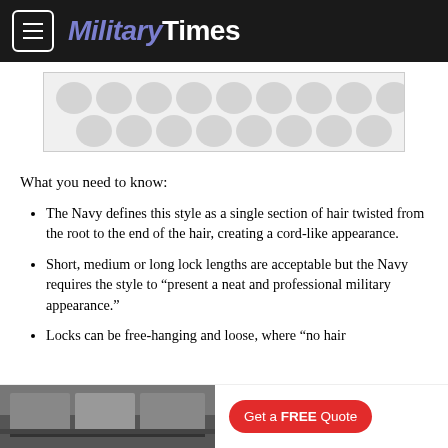MilitaryTimes
[Figure (other): Advertisement placeholder with decorative dot pattern background]
What you need to know:
The Navy defines this style as a single section of hair twisted from the root to the end of the hair, creating a cord-like appearance.
Short, medium or long lock lengths are acceptable but the Navy requires the style to “present a neat and professional military appearance.”
Locks can be free-hanging and loose, where “no hair
[Figure (photo): Kitchen interior photo with a red 'Get a FREE Quote' button — bottom advertisement bar]